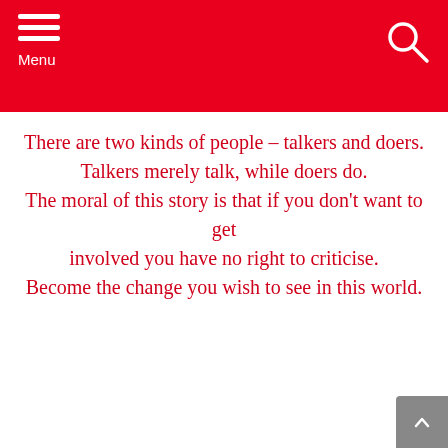Menu
There are two kinds of people – talkers and doers. Talkers merely talk, while doers do. The moral of this story is that if you don't want to get involved you have no right to criticise. Become the change you wish to see in this world.